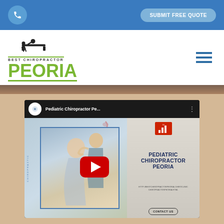SUBMIT FREE QUOTE
[Figure (logo): Best Chiropractor Peoria logo with chiropractor silhouette icon and green PEORIA text]
[Figure (screenshot): YouTube video thumbnail for Pediatric Chiropractor Peoria video showing chiropractor adjusting patient's neck, with play button overlay and text PEDIATRIC CHIROPRACTOR PEORIA with CONTACT US button]